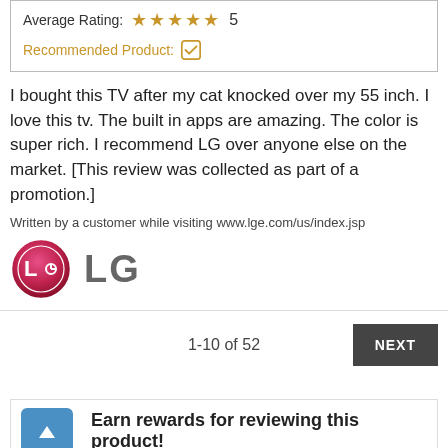Average Rating: ★★★★★ 5
Recommended Product: ✓
I bought this TV after my cat knocked over my 55 inch. I love this tv. The built in apps are amazing. The color is super rich. I recommend LG over anyone else on the market. [This review was collected as part of a promotion.]
Written by a customer while visiting www.lge.com/us/index.jsp
[Figure (logo): LG logo — circular red/pink LG symbol followed by bold gray 'LG' text]
1-10 of 52
NEXT
Earn rewards for reviewing this product!
If you have used this product, simply log in and